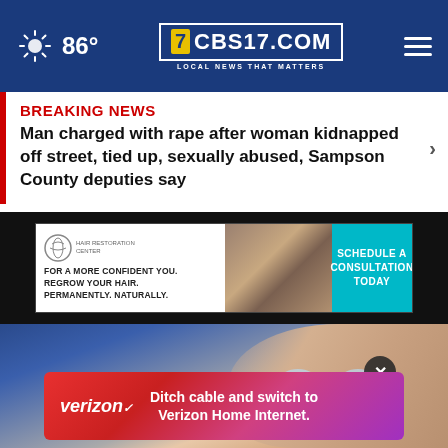86° CBS17.COM LOCAL NEWS THAT MATTERS
BREAKING NEWS
Man charged with rape after woman kidnapped off street, tied up, sexually abused, Sampson County deputies say
[Figure (photo): Hair restoration advertisement with before/after hair photos and teal call-to-action button reading 'SCHEDULE A CONSULTATION TODAY']
[Figure (photo): Close-up photo of an older man's face against a blue background]
[Figure (infographic): Verizon advertisement: 'Ditch cable and switch to Verizon Home Internet.' on a red-to-purple gradient background]